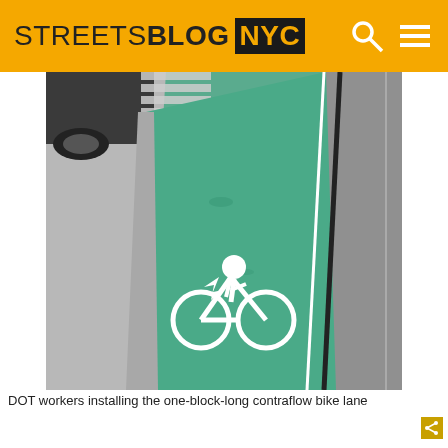STREETSBLOG NYC
[Figure (photo): Green painted contraflow bike lane along a city street, with a white bicycle symbol painted on the green surface. A sidewalk/curb is visible on the left, and a road with a dividing white line runs on the right.]
DOT workers installing the one-block-long contraflow bike lane